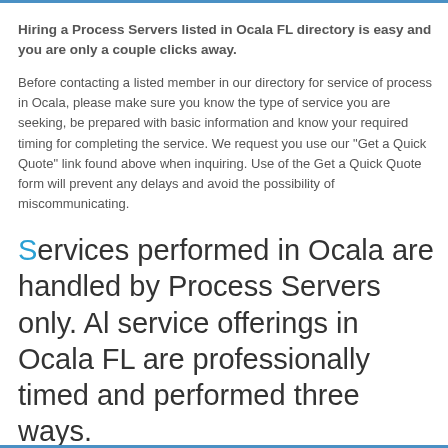Hiring a Process Servers listed in Ocala FL directory is easy and you are only a couple clicks away.
Before contacting a listed member in our directory for service of process in Ocala, please make sure you know the type of service you are seeking, be prepared with basic information and know your required timing for completing the service. We request you use our "Get a Quick Quote" link found above when inquiring. Use of the Get a Quick Quote form will prevent any delays and avoid the possibility of miscommunicating.
Services performed in Ocala are handled by Process Servers only. Al service offerings in Ocala FL are professionally timed and performed three ways.